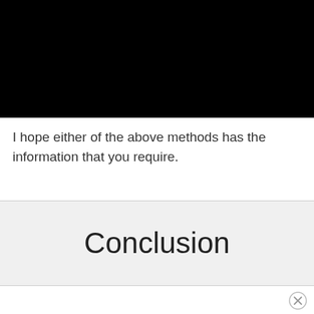[Figure (other): Black rectangular block covering the top portion of the page, obscuring content above]
I hope either of the above methods has the information that you require.
Conclusion